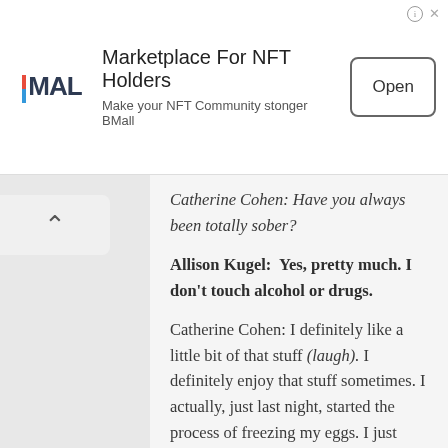[Figure (infographic): Advertisement banner for BMall NFT marketplace with MAL logo, title 'Marketplace For NFT Holders', subtitle 'Make your NFT Community stonger BMall', and an 'Open' button]
Catherine Cohen: Have you always been totally sober?
Allison Kugel:  Yes, pretty much. I don't touch alcohol or drugs.
Catherine Cohen: I definitely like a little bit of that stuff (laugh). I definitely enjoy that stuff sometimes. I actually, just last night, started the process of freezing my eggs. I just started the medications, so I'm feeling [weird]. First of all, I'm not drinking and I'm drinking lots of water, but I can't exercise. I can only walk, and I'm feeling out of my